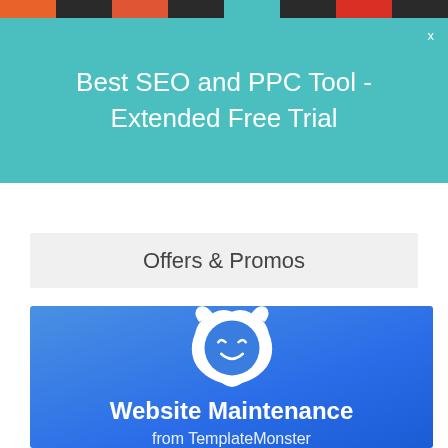[Figure (screenshot): Top navigation bar with colorful segment blocks in orange, dark, orange-red, dark, teal, dark, red, dark pattern]
Best SEO and PPC Tool - Extended Free Trial
Offers & Promos
[Figure (logo): Blue gradient banner with white TemplateMonster mascot (smiling monster face with cat-like ears) and text: Website Maintenance from TemplateMonster]